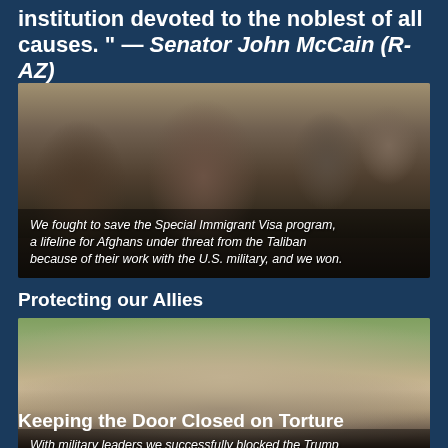institution devoted to the noblest of all causes." — Senator John McCain (R-AZ)
[Figure (photo): Afghan men and U.S. military personnel in conversation, with caption: 'We fought to save the Special Immigrant Visa program, a lifeline for Afghans under threat from the Taliban because of their work with the U.S. military, and we won.']
Protecting our Allies
[Figure (photo): Group photo of military leaders and officials standing outdoors, with caption: 'With military leaders we successfully blocked the Trump Administration’s attempt to reopen black sites and revive the torture program.']
Keeping the Door Closed on Torture